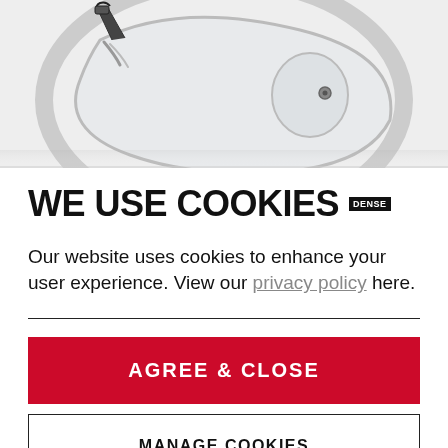[Figure (photo): Partial view of a clear/transparent cycling or sports helmet from above, showing straps and buckle hardware against a light background.]
WE USE COOKIES DENSE
Our website uses cookies to enhance your user experience. View our privacy policy here.
AGREE & CLOSE
MANAGE COOKIES